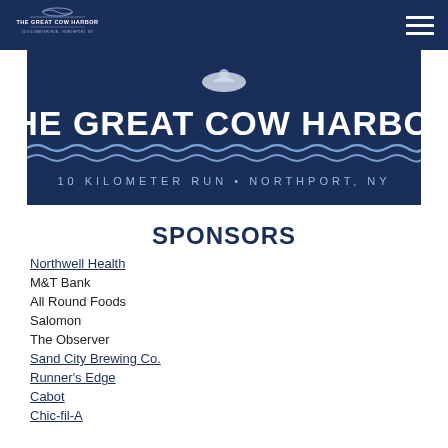The Great Cow Harbor — navigation bar with logo and hamburger menu
[Figure (illustration): The Great Cow Harbor 10 Kilometer Run · Northport, NY banner with dark navy background, white bold title text, wave decoration, and cow/heron icon]
SPONSORS
Northwell Health
M&T Bank
All Round Foods
Salomon
The Observer
Sand City Brewing Co.
Runner's Edge
Cabot
Chic-fil-A